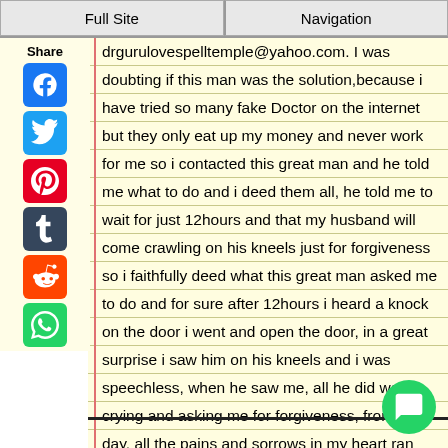Full Site | Navigation
drgurulovespelltemple@yahoo.com. I was doubting if this man was the solution,because i have tried so many fake Doctor on the internet but they only eat up my money and never work for me so i contacted this great man and he told me what to do and i deed them all, he told me to wait for just 12hours and that my husband will come crawling on his kneels just for forgiveness so i faithfully deed what this great man asked me to do and for sure after 12hours i heard a knock on the door i went and open the door, in a great surprise i saw him on his kneels and i was speechless, when he saw me, all he did was crying and asking me for forgiveness, from that day, all the pains and sorrows in my heart ran away,since then i and my husband and our lovely kids are living happily.that is why i want to say a big thanks to Dr guru This great man made me to understand that there is know problem on earth that has no solution so please if you know that you have this same problem or any problem that is similar, i will advise you to contact this great doctor through his mail drgurulovespelltemple@yahoo.com and he will solve your problem